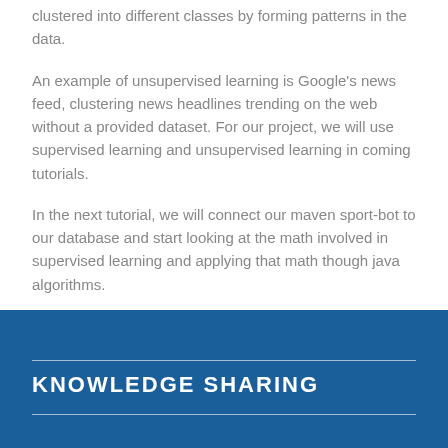clustered into different classes by forming patterns in the data.
An example of unsupervised learning is Google's news feed, clustering news headlines trending on the web without a provided dataset. For our project, we will use supervised learning and unsupervised learning in coming tutorials.
In the next tutorial, we will connect our maven sport-bot to our database and start looking at the math involved in supervised learning and applying that math though java algorithms.
KNOWLEDGE SHARING